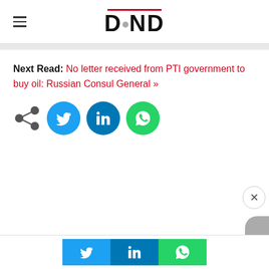DND
Next Read: No letter received from PTI government to buy oil: Russian Consul General »
[Figure (other): Social share buttons row: share icon (gray), Twitter (blue circle), LinkedIn (dark blue circle), WhatsApp (green circle)]
[Figure (other): Bottom bar with Twitter, LinkedIn, WhatsApp share buttons and a close X button overlay]